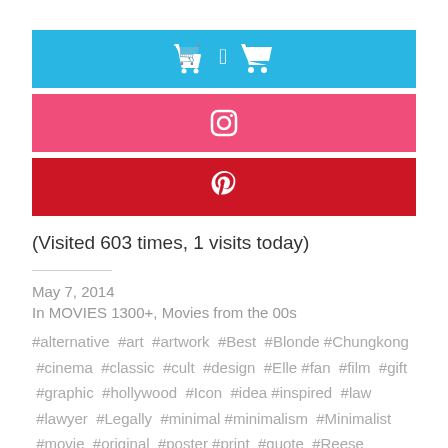[Figure (other): Blue shopping cart button icon (social share button)]
[Figure (other): Pink/hot-pink Instagram button icon (social share button)]
[Figure (other): Red Pinterest button icon (social share button)]
(Visited 603 times, 1 visits today)
May 7, 2014
In MOVIES 1300+, Movies from the 00s
#alternative #art #artwork #Best #Blonde #Chungkong #cinema #classic #cult #design #Elle #fan #film #gift #graphic #hollywood #Icon #idea #inspired #law #lawyer #Legally #minimal #minimalism #Minimalist #movie #original #poster #print #quote #Reese #Retro #room #sale #School #Simple #sorority #style #symbol #time #Well